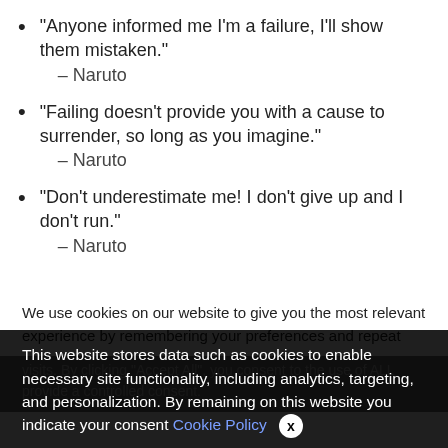“Anyone informed me I’m a failure, I’ll show them mistaken.” – Naruto
“Failing doesn’t provide you with a cause to surrender, so long as you imagine.” – Naruto
“Don’t underestimate me! I don’t give up and I don’t run.” – Naruto
We use cookies on our website to give you the most relevant experience by remembering your preferences and repeat visits. By clicking “Accept All”, you consent to the use of ALL provide a controlled consent.
This website stores data such as cookies to enable necessary site functionality, including analytics, targeting, and personalization. By remaining on this website you indicate your consent Cookie Policy ✗